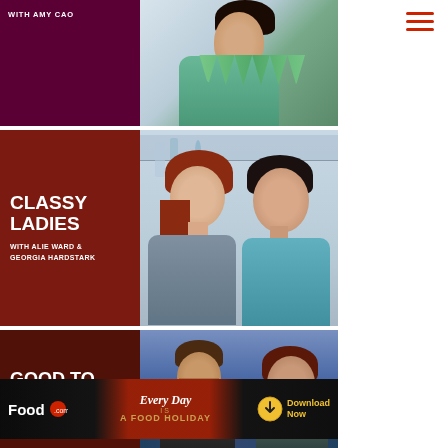[Figure (screenshot): Top portion of a TV show card with purple-maroon left panel showing 'WITH AMY CAO' text and a photo of a woman in a green/teal outfit on the right]
[Figure (screenshot): TV show card for 'Classy Ladies' with dark red left panel showing show title 'CLASSY LADIES' and subtitle 'WITH ALIE WARD & GEORGIA HARDSTARK', and a photo of two women posing on the right]
[Figure (screenshot): TV show card for 'Good To Know' with dark maroon left panel showing show title 'GOOD TO KNOW' and a photo of a man and woman on the right]
[Figure (screenshot): Food.com advertisement banner: 'Every Day IS A FOOD HOLIDAY' with Food.com logo and Download Now button]
Final Thoughts